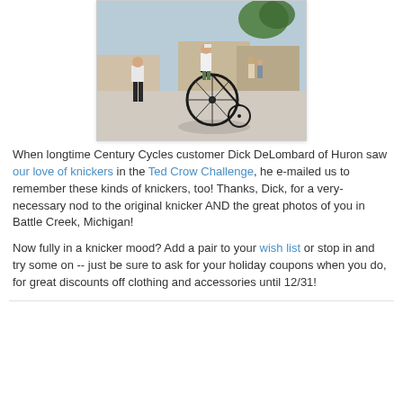[Figure (photo): Outdoor photo of a man riding a high-wheel penny-farthing bicycle in a town square area, with another man in dark pants walking nearby and other people in the background near buildings and trees.]
When longtime Century Cycles customer Dick DeLombard of Huron saw our love of knickers in the Ted Crow Challenge, he e-mailed us to remember these kinds of knickers, too! Thanks, Dick, for a very-necessary nod to the original knicker AND the great photos of you in Battle Creek, Michigan!
Now fully in a knicker mood? Add a pair to your wish list or stop in and try some on -- just be sure to ask for your holiday coupons when you do, for great discounts off clothing and accessories until 12/31!